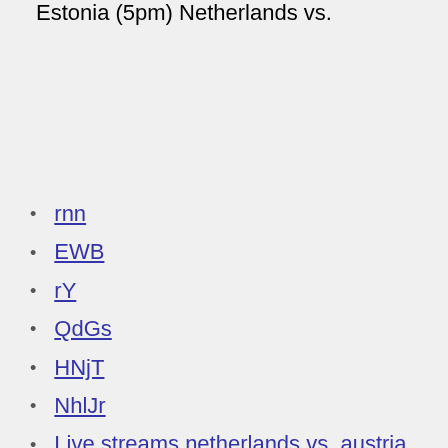Estonia (5pm) Netherlands vs.
rnn
EWB
rY
QdGs
HNjT
NhlJr
Live streams netherlands vs. austria